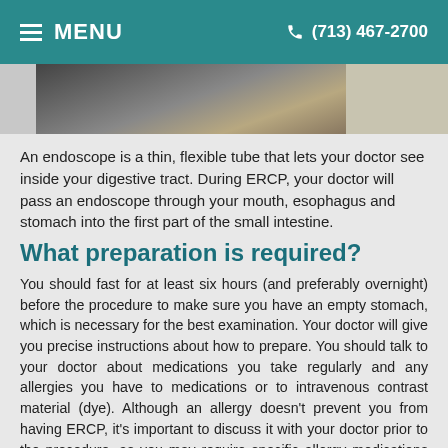MENU   (713) 467-2700
[Figure (photo): Partial photo of a medical/endoscopy procedure or equipment, shown as a cropped strip at the top of the content area.]
An endoscope is a thin, flexible tube that lets your doctor see inside your digestive tract. During ERCP, your doctor will pass an endoscope through your mouth, esophagus and stomach into the first part of the small intestine.
What preparation is required?
You should fast for at least six hours (and preferably overnight) before the procedure to make sure you have an empty stomach, which is necessary for the best examination. Your doctor will give you precise instructions about how to prepare. You should talk to your doctor about medications you take regularly and any allergies you have to medications or to intravenous contrast material (dye). Although an allergy doesn't prevent you from having ERCP, it's important to discuss it with your doctor prior to the procedure, as you may require specific allergy medications before the ERCP. Inform your doctor about medications you're taking, particularly aspirin products, arthritis medications, anticoagulants (blood thinners, such as warfarin or heparin), clopidogrel or insulin. Also, be sure to tell your doctor if you have